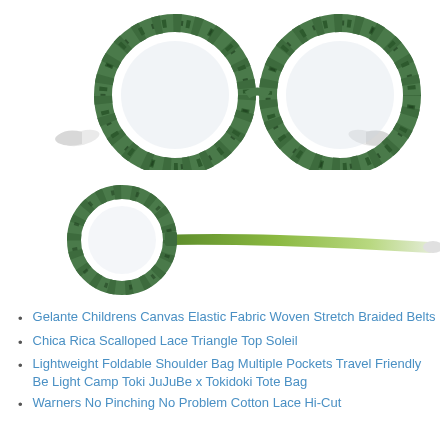[Figure (photo): Front view of round green tortoise shell patterned eyeglasses with clear/white temple tips, shown against white background]
[Figure (photo): Side view of round green tortoise shell patterned eyeglasses with green gradient temple arm fading to white tip, shown against white background]
Gelante Childrens Canvas Elastic Fabric Woven Stretch Braided Belts
Chica Rica Scalloped Lace Triangle Top Soleil
Lightweight Foldable Shoulder Bag Multiple Pockets Travel Friendly Be Light Camp Toki JuJuBe x Tokidoki Tote Bag
Warners No Pinching No Problem Cotton Lace Hi-Cut